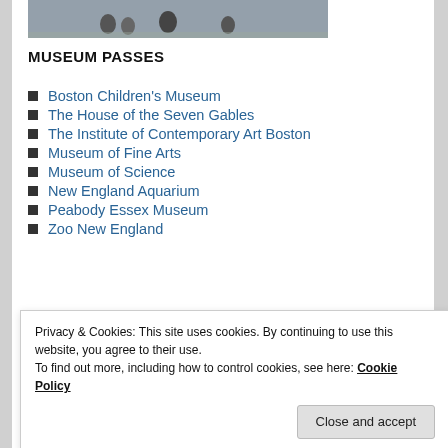[Figure (photo): Partially visible photo of people at a museum or outdoor location]
MUSEUM PASSES
Boston Children's Museum
The House of the Seven Gables
The Institute of Contemporary Art Boston
Museum of Fine Arts
Museum of Science
New England Aquarium
Peabody Essex Museum
Zoo New England
[Figure (screenshot): GET THE APP banner with WordPress logo icon]
Privacy & Cookies: This site uses cookies. By continuing to use this website, you agree to their use.
To find out more, including how to control cookies, see here: Cookie Policy
Close and accept